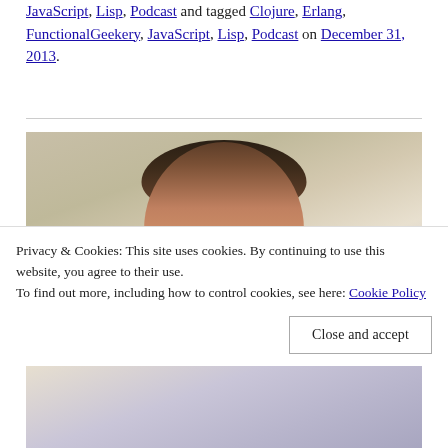JavaScript, Lisp, Podcast and tagged Clojure, Erlang, FunctionalGeekery, JavaScript, Lisp, Podcast on December 31, 2013.
[Figure (photo): Cropped photo of a man's head and face, showing the top of his head with brown hair, photographed from above. Background has soft lighting with blue/purple and beige tones.]
Privacy & Cookies: This site uses cookies. By continuing to use this website, you agree to their use.
To find out more, including how to control cookies, see here: Cookie Policy